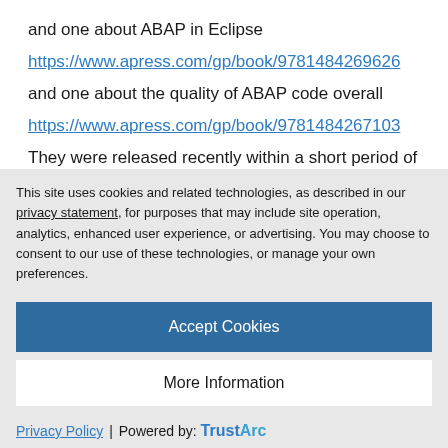and one about ABAP in Eclipse
https://www.apress.com/gp/book/9781484269626
and one about the quality of ABAP code overall
https://www.apress.com/gp/book/9781484267103
They were released recently within a short period of each other, and all sort of tie in with each other in that the general one on ABAP...
This site uses cookies and related technologies, as described in our privacy statement, for purposes that may include site operation, analytics, enhanced user experience, or advertising. You may choose to consent to our use of these technologies, or manage your own preferences.
Accept Cookies
More Information
Privacy Policy | Powered by: TrustArc